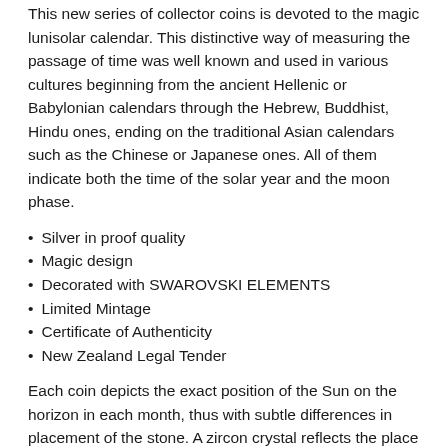This new series of collector coins is devoted to the magic lunisolar calendar. This distinctive way of measuring the passage of time was well known and used in various cultures beginning from the ancient Hellenic or Babylonian calendars through the Hebrew, Buddhist, Hindu ones, ending on the traditional Asian calendars such as the Chinese or Japanese ones. All of them indicate both the time of the solar year and the moon phase.
Silver in proof quality
Magic design
Decorated with SWAROVSKI ELEMENTS
Limited Mintage
Certificate of Authenticity
New Zealand Legal Tender
Each coin depicts the exact position of the Sun on the horizon in each month, thus with subtle differences in placement of the stone. A zircon crystal reflects the place of the stone to be positioned to each